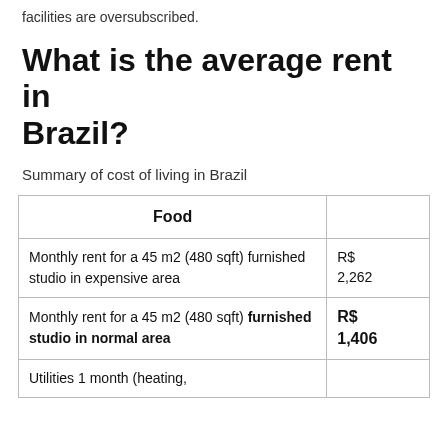facilities are oversubscribed.
What is the average rent in Brazil?
Summary of cost of living in Brazil
| Food |  |
| --- | --- |
| Monthly rent for a 45 m2 (480 sqft) furnished studio in expensive area | R$ 2,262 |
| Monthly rent for a 45 m2 (480 sqft) furnished studio in normal area | R$ 1,406 |
| Utilities 1 month (heating, electricity, gas) for 2 people in an... | R$ ... |